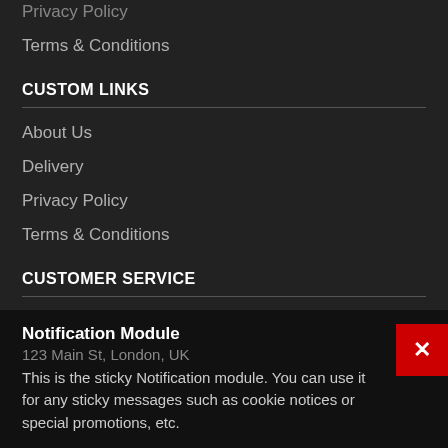Privacy Policy
Terms & Conditions
CUSTOM LINKS
About Us
Delivery
Privacy Policy
Terms & Conditions
CUSTOMER SERVICE
Contact
Returns
Site Map
Brands
Notification Module
123 Main St, London, UK
This is the sticky Notification module. You can use it for any sticky messages such as cookie notices or special promotions, etc.